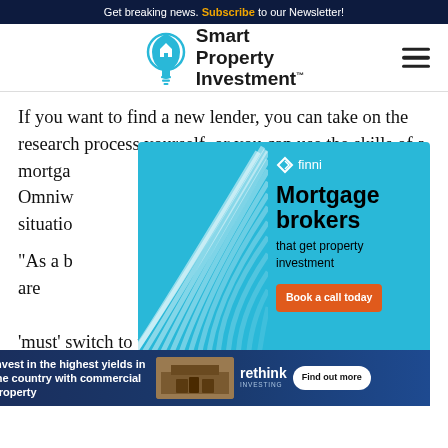Get breaking news. Subscribe to our Newsletter!
[Figure (logo): Smart Property Investment logo with lightbulb icon and hamburger menu]
If you want to find a new lender, you can take on the research process yourself, or you can use the skills of a mortgage [broker. According to Omniweath...] of your situation [...] only has been u[sed...]
[Figure (infographic): Finni mortgage brokers advertisement with teal background, curved white lines, text 'Mortgage brokers that get property investment' and 'Book a call today' orange button]
"As a b[roker...] hat you are [...] ve to stay wi[th...] er telling you that you 'must' switch to principal and interest, review the checklist and weigh up your options," the statem[ent said...]
[Figure (infographic): Rethink Investing advertisement: 'Invest in the highest yields in the country with commercial property' with Find out more button]